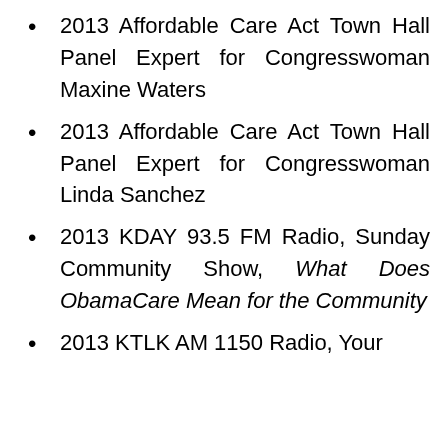2013 Affordable Care Act Town Hall Panel Expert for Congresswoman Maxine Waters
2013 Affordable Care Act Town Hall Panel Expert for Congresswoman Linda Sanchez
2013 KDAY 93.5 FM Radio, Sunday Community Show, What Does ObamaCare Mean for the Community
2013 KTLK AM 1150 Radio, Your